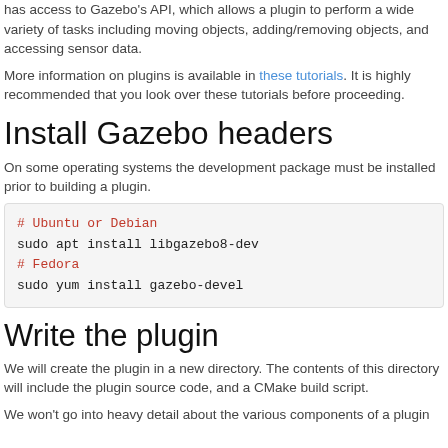has access to Gazebo's API, which allows a plugin to perform a wide variety of tasks including moving objects, adding/removing objects, and accessing sensor data.
More information on plugins is available in these tutorials. It is highly recommended that you look over these tutorials before proceeding.
Install Gazebo headers
On some operating systems the development package must be installed prior to building a plugin.
# Ubuntu or Debian
sudo apt install libgazebo8-dev
# Fedora
sudo yum install gazebo-devel
Write the plugin
We will create the plugin in a new directory. The contents of this directory will include the plugin source code, and a CMake build script.
We won't go into heavy detail about the various components of a plugin